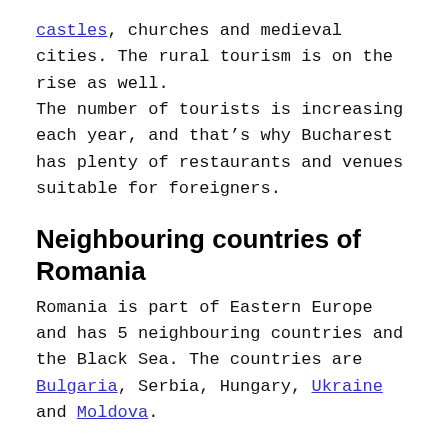castles, churches and medieval cities. The rural tourism is on the rise as well.
The number of tourists is increasing each year, and that's why Bucharest has plenty of restaurants and venues suitable for foreigners.
Neighbouring countries of Romania
Romania is part of Eastern Europe and has 5 neighbouring countries and the Black Sea. The countries are Bulgaria, Serbia, Hungary, Ukraine and Moldova.
Transylvania region in Romania
Let's start with the obvious question here: "Is Transylvania a country?"
No, Transylvania is a region of Romania. (Traditionally